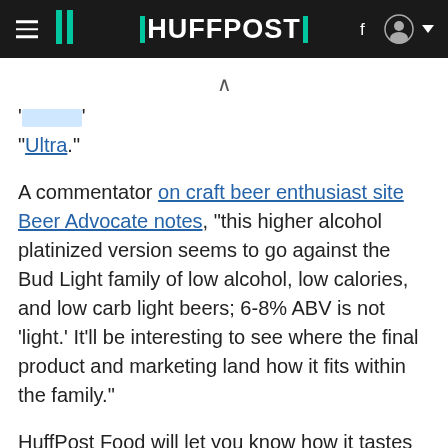HUFFPOST
"Ultra."
A commentator on craft beer enthusiast site Beer Advocate notes, "this higher alcohol platinized version seems to go against the Bud Light family of low alcohol, low calories, and low carb light beers; 6-8% ABV is not 'light.' It'll be interesting to see where the final product and marketing land how it fits within the family."
HuffPost Food will let you know how it tastes when we can track some down. In the meantime,